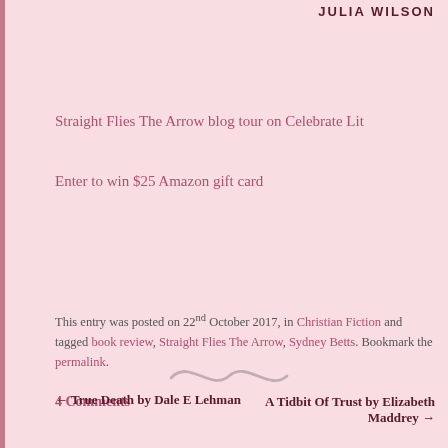JULIA WILSON
Straight Flies The Arrow blog tour on Celebrate Lit
Enter to win $25 Amazon gift card
This entry was posted on 22nd October 2017, in Christian Fiction and tagged book review, Straight Flies The Arrow, Sydney Betts. Bookmark the permalink.
4 Comments
[Figure (illustration): Decorative squiggle/flourish divider]
← True Death by Dale E Lehman
A Tidbit Of Trust by Elizabeth Maddrey →